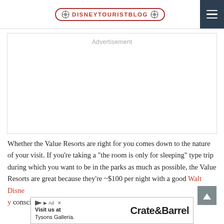DISNEYTOURISTBLOG
Advertisement
Whether the Value Resorts are right for you comes down to the nature of your visit. If you’re taking a “the room is only for sleeping” type trip during which you want to be in the parks as much as possible, the Value Resorts are great because they’re ~$100 per night with a good Walt Disney [World discount], which is a conscious... party.
[Figure (other): Crate & Barrel advertisement banner: 'Visit us at Tysons Galleria. Crate&Barrel']